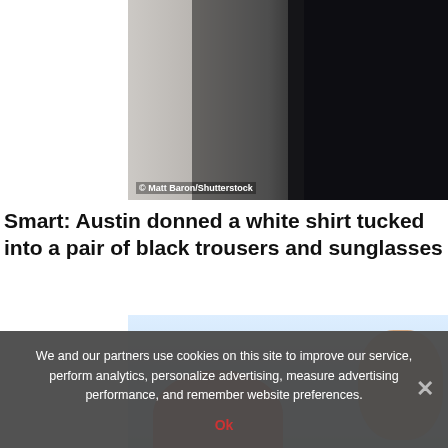[Figure (photo): Partial photo showing a person in a white shirt and black trousers, black background, cropped]
Smart: Austin donned a white shirt tucked into a pair of black trousers and sunglasses
[Figure (photo): Partial photo showing a person with reddish/pink hair against a light blue background, face partially visible]
We and our partners use cookies on this site to improve our service, perform analytics, personalize advertising, measure advertising performance, and remember website preferences.
Ok